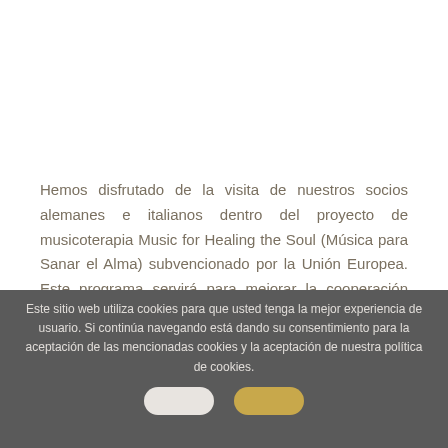Hemos disfrutado de la visita de nuestros socios alemanes e italianos dentro del proyecto de musicoterapia Music for Healing the Soul (Música para Sanar el Alma) subvencionado por la Unión Europea. Este programa servirá para mejorar la cooperación entre nuestros países y perfeccionar nuestras capacidades en técnicas de musicoterapia aplicadas para la atención...
Este sitio web utiliza cookies para que usted tenga la mejor experiencia de usuario. Si continúa navegando está dando su consentimiento para la aceptación de las mencionadas cookies y la aceptación de nuestra política de cookies.